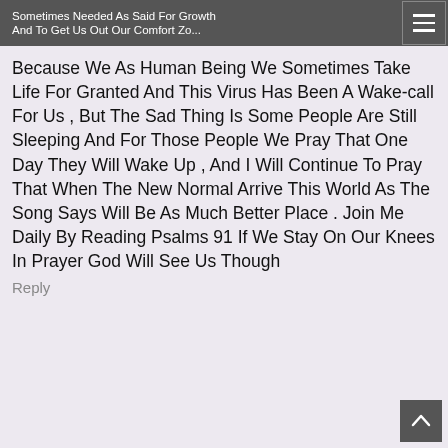Sometimes Needed As Said For Growth And To Get Us Out Our Comfort Zone
Because We As Human Being We Sometimes Take Life For Granted And This Virus Has Been A Wake-call For Us , But The Sad Thing Is Some People Are Still Sleeping And For Those People We Pray That One Day They Will Wake Up , And I Will Continue To Pray That When The New Normal Arrive This World As The Song Says Will Be As Much Better Place . Join Me Daily By Reading Psalms 91 If We Stay On Our Knees In Prayer God Will See Us Though
Reply